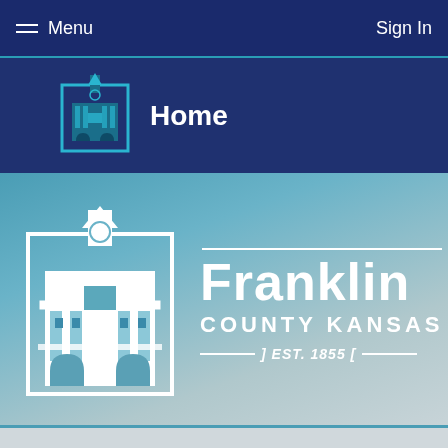Menu   Sign In
Home
[Figure (logo): Franklin County Kansas courthouse logo with building illustration, large white version on hero banner]
Franklin
COUNTY KANSAS
] EST. 1855 [